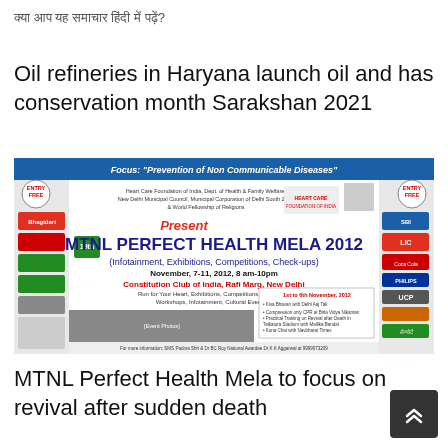क्या आप यह समाचार हिंदी में पढ़ें?
Oil refineries in Haryana launch oil and has conservation month Sarakshan 2021
[Figure (photo): MTNL Perfect Health Mela 2012 promotional banner showing event details, logos of sponsors, photos of organizers, and event schedule information. Focus: Prevention of Non Communicable Diseases. Constitution Club of India, Rafi Marg, New Delhi. November 7-11, 2012, 8am-10pm.]
MTNL Perfect Health Mela to focus on revival after sudden death